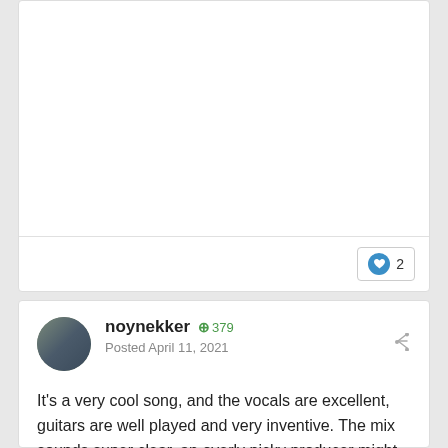[Figure (other): Top white card with blank content area and a like button showing heart icon and count 2]
noynekker  +379
Posted April 11, 2021
It's a very cool song, and the vocals are excellent, guitars are well played and very inventive. The mix sounds super clear, an overly picky producer might want to tame it down, but for myself it has a very raw and real authenticity to it the way it is. For some reason, the chorus made me think of